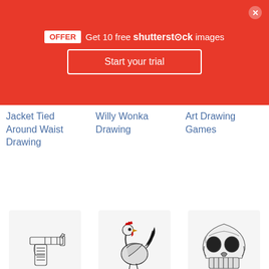[Figure (screenshot): Shutterstock promotional banner with red background showing OFFER badge, 'Get 10 free shutterstock images' text, and 'Start your trial' button]
Jacket Tied Around Waist Drawing
Willy Wonka Drawing
Art Drawing Games
[Figure (illustration): Handgun line drawing illustration]
[Figure (illustration): Rooster line drawing illustration in black and white]
[Figure (illustration): Brain pencil drawing of a skull]
Handguns Drawing
Rooster Line Drawing
Brain Pencil Drawing